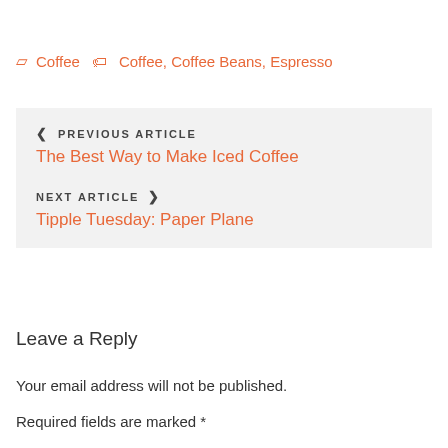☶ Coffee  🏷 Coffee, Coffee Beans, Espresso
❮ PREVIOUS ARTICLE
The Best Way to Make Iced Coffee
NEXT ARTICLE ❯
Tipple Tuesday: Paper Plane
Leave a Reply
Your email address will not be published.
Required fields are marked *